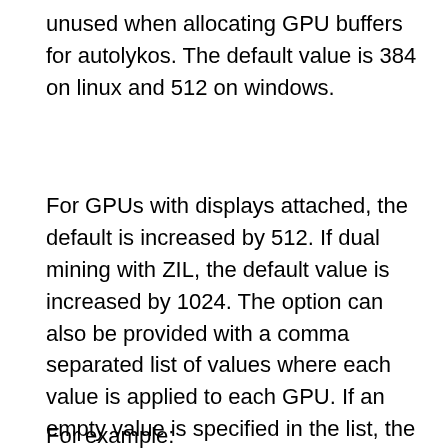unused when allocating GPU buffers for autolykos. The default value is 384 on linux and 512 on windows.
For GPUs with displays attached, the default is increased by 512. If dual mining with ZIL, the default value is increased by 1024. The option can also be provided with a comma separated list of values where each value is applied to each GPU. If an empty value is specified in the list, the default will be used for that GPU. If a value is not specified for a GPU it will use the first value in the list.
For example: